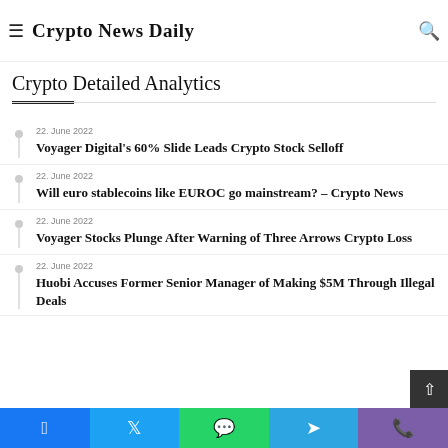Crypto News Daily
CNBC's Jim Cramer Warns Investors to Stay Away from Dogecoin, Shiba Inu, and a Dozen Other Altcoins
8 hours ago
Crypto Detailed Analytics
22. June 2022 — Voyager Digital's 60% Slide Leads Crypto Stock Selloff
22. June 2022 — Will euro stablecoins like EUROC go mainstream? – Crypto News
22. June 2022 — Voyager Stocks Plunge After Warning of Three Arrows Crypto Loss
22. June 2022 — Huobi Accuses Former Senior Manager of Making $5M Through Illegal Deals